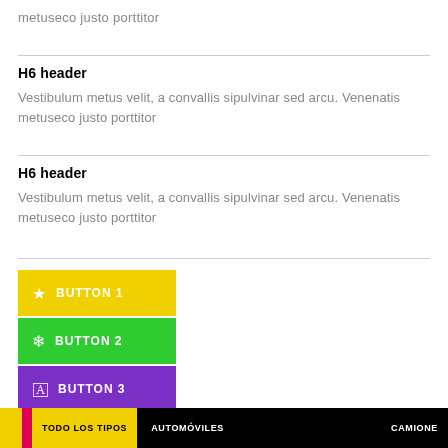metuseco justo porttitor
H6 header
Vestibulum metus velit, a convallis sipulvinar sed arcu. Venenatis metuseco justo porttitor
H6 header
Vestibulum metus velit, a convallis sipulvinar sed arcu. Venenatis metuseco justo porttitor
[Figure (infographic): Three colored buttons: BUTTON1 (yellow with star icon), BUTTON2 (green with snowflake icon), BUTTON3 (purple with location icon)]
[Figure (infographic): Bottom navigation bar with yellow/pink accent and items: TODO LOS TIPOS, AUTOMOVILES, CAMIONE]